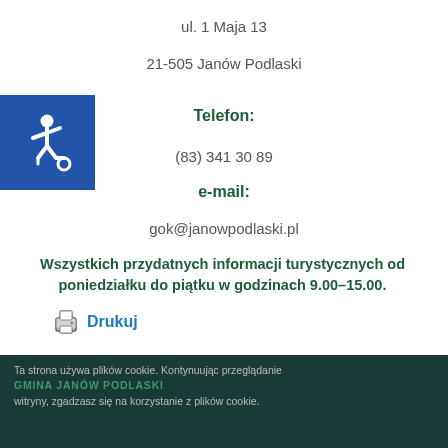ul. 1 Maja 13
21-505 Janów Podlaski
Telefon:
(83) 341 30 89
e-mail:
gok@janowpodlaski.pl
Wszystkich przydatnych informacji turystycznych od poniedziałku do piątku w godzinach 9.00–15.00.
Drukuj
Ta strona używa plików cookie. Kontynuując przeglądanie witryny, zgadzasz się na korzystanie z plików cookie. GMINA JANÓW PODLASKI